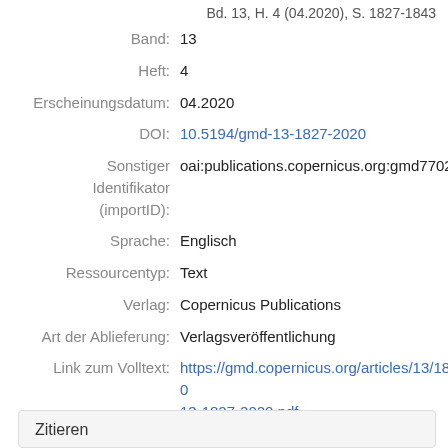Bd. 13, H. 4 (04.2020), S. 1827-1843
Band: 13
Heft: 4
Erscheinungsdatum: 04.2020
DOI: 10.5194/gmd-13-1827-2020
Sonstiger Identifikator (importID): oai:publications.copernicus.org:gmd77020
Sprache: Englisch
Ressourcentyp: Text
Verlag: Copernicus Publications
Art der Ablieferung: Verlagsveröffentlichung
Link zum Volltext: https://gmd.copernicus.org/articles/13/1827/20 13-1827-2020.pdf
Zitieren